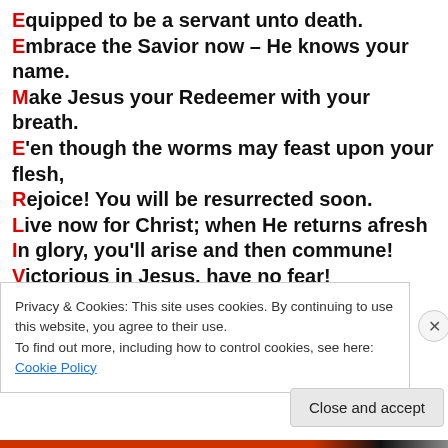Equipped to be a servant unto death.
Embrace the Savior now – He knows your name.
Make Jesus your Redeemer with your breath.
E'en though the worms may feast upon your flesh,
Rejoice! You will be resurrected soon.
Live now for Christ; when He returns afresh
In glory, you'll arise and then commune!
Victorious in Jesus, have no fear!
Escape the bonds of death, your Savior's here!
Surrender all to Him right now, my dear.
~~~~~~~~~~
Privacy & Cookies: This site uses cookies. By continuing to use this website, you agree to their use. To find out more, including how to control cookies, see here: Cookie Policy
Close and accept